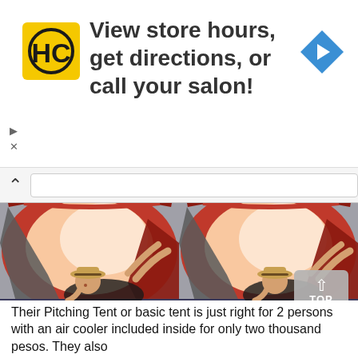[Figure (advertisement): HC salon advertisement banner with yellow/black logo, text 'View store hours, get directions, or call your salon!' and a blue navigation arrow icon]
[Figure (photo): Two side-by-side photos of a smiling Asian woman wearing a straw hat lying inside an open red tent on a colorful mat]
Their Pitching Tent or basic tent is just right for 2 per[sons with] an air cooler included inside for only two thousand pesos. Th[ey also]